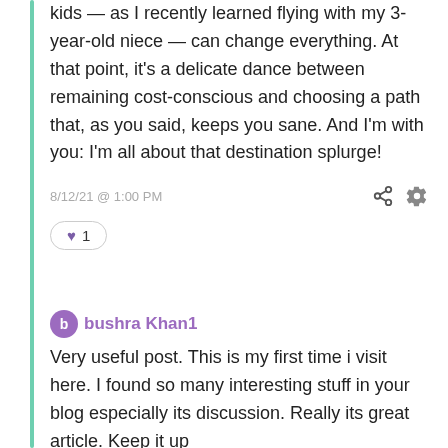kids — as I recently learned flying with my 3-year-old niece — can change everything. At that point, it's a delicate dance between remaining cost-conscious and choosing a path that, as you said, keeps you sane. And I'm with you: I'm all about that destination splurge!
8/12/21 @ 1:00 PM
♥ 1
bushra Khan1
Very useful post. This is my first time i visit here. I found so many interesting stuff in your blog especially its discussion. Really its great article. Keep it up